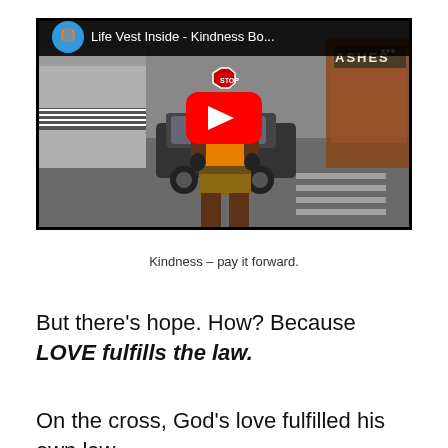[Figure (screenshot): YouTube video thumbnail showing a man in an orange safety vest standing in a street. The video title reads 'Life Vest Inside - Kindness Bo...' with a YouTube play button overlay. A blue and orange Life Vest Inside logo is in the top left corner.]
Kindness – pay it forward.
But there's hope. How? Because LOVE fulfills the law.
On the cross, God's love fulfilled his own law